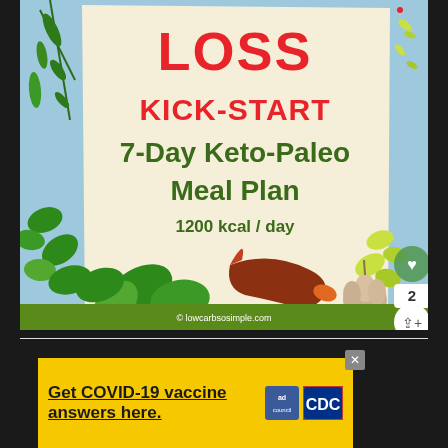[Figure (illustration): Book cover image for 'Weight Loss Kick-Start 7-Day Keto-Paleo Meal Plan 1200 kcal / day' by lowcarbsosimple.com. Shows a torn paper note on a light blue background with herbs, a dried red chili pepper, and a garlic clove. Text in red: 'LOSS', 'KICK-START'. Text in dark green: '7-Day Keto-Paleo Meal Plan', '1200 kcal / day'. UI overlay buttons: heart icon, number 2, share icon.]
[Figure (infographic): Advertisement banner with yellow background. Text: 'Get COVID-19 vaccine answers here.' with 'ad council' logo and CDC logo. Close button (X) in top right corner.]